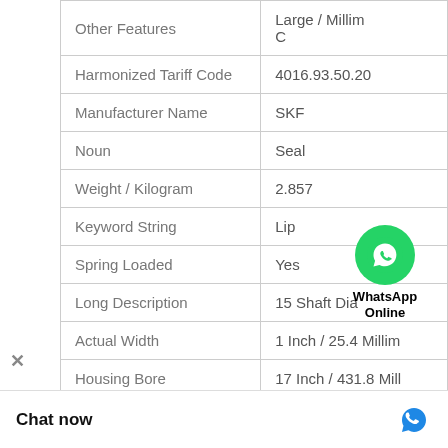| Feature | Value |
| --- | --- |
| Other Features | Large / Millim C |
| Harmonized Tariff Code | 4016.93.50.20 |
| Manufacturer Name | SKF |
| Noun | Seal |
| Weight / Kilogram | 2.857 |
| Keyword String | Lip |
| Spring Loaded | Yes |
| Long Description | 15 Shaft Dia |
| Actual Width | 1 Inch / 25.4 Millim |
| Housing Bore | 17 Inch / 431.8 Mill |
[Figure (logo): WhatsApp Online bubble icon with green phone logo and 'WhatsApp Online' text]
Chat now